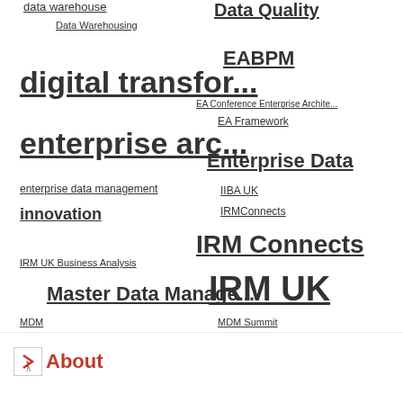data warehouse
Data Quality
Data Warehousing
EABPM
digital transfor...
EA Conference Enterprise Archite...
EA Framework
enterprise arc...
Enterprise Data
enterprise data management
IIBA UK
innovation
IRMConnects
IRM Connects
IRM UK Business Analysis
IRM UK
Master Data Manage...
MDM
MDM Summit
Process Management
About